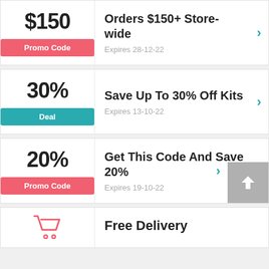$150 Promo Code — Orders $150+ Store-wide, Expires 28-12-22
30% Deal — Save Up To 30% Off Kits, Expires 13-10-22
20% Promo Code — Get This Code And Save 20%, Expires 19-10-22
Free Delivery